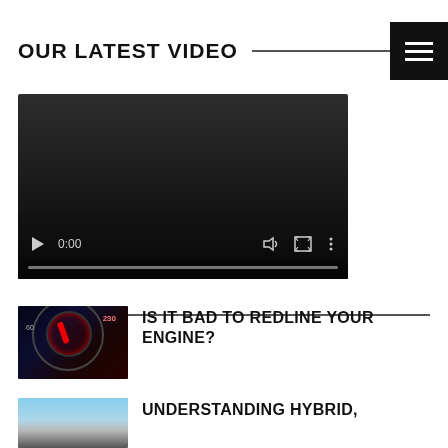OUR LATEST VIDEO
[Figure (screenshot): Video player showing 0:00 with play, volume, fullscreen, and more options controls on a dark background with a progress bar]
ADVICE
[Figure (photo): Dark tachometer/gauge cluster of a car dashboard with red lighting]
IS IT BAD TO REDLINE YOUR ENGINE?
[Figure (photo): Blue sky with car visible at bottom, hybrid/electric vehicle]
UNDERSTANDING HYBRID,